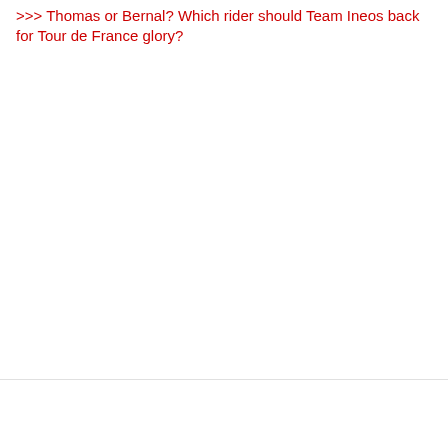>>> Thomas or Bernal? Which rider should Team Ineos back for Tour de France glory?